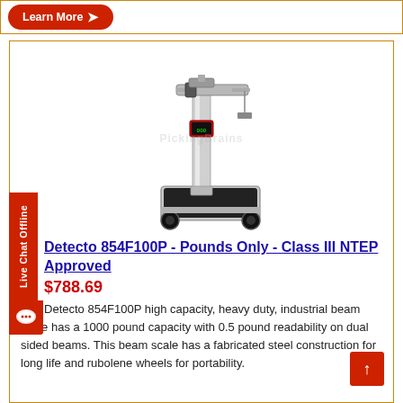[Figure (screenshot): Learn More button with red pill-shaped background and arrow, inside an orange-bordered bar at top]
[Figure (photo): Detecto 854F100P mechanical beam scale with upright column, dual-sided beam, black platform with rubber wheels, silver/grey frame]
Detecto 854F100P - Pounds Only - Class III NTEP Approved
$788.69
The Detecto 854F100P high capacity, heavy duty, industrial beam scale has a 1000 pound capacity with 0.5 pound readability on dual sided beams. This beam scale has a fabricated steel construction for long life and rubolene wheels for portability.
[Figure (infographic): Live Chat Offline vertical sidebar tab in red]
[Figure (infographic): Back to top red button with up arrow]